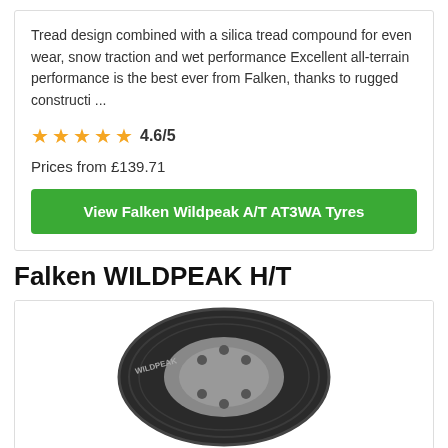Tread design combined with a silica tread compound for even wear, snow traction and wet performance Excellent all-terrain performance is the best ever from Falken, thanks to rugged constructi ...
★★★★★ 4.6/5
Prices from £139.71
View Falken Wildpeak A/T AT3WA Tyres
Falken WILDPEAK H/T
[Figure (photo): Photo of a Falken WILDPEAK H/T tyre showing tread pattern and sidewall]